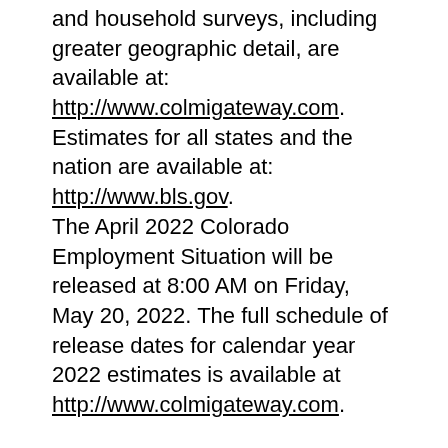and household surveys, including greater geographic detail, are available at: http://www.colmigateway.com. Estimates for all states and the nation are available at: http://www.bls.gov. The April 2022 Colorado Employment Situation will be released at 8:00 AM on Friday, May 20, 2022. The full schedule of release dates for calendar year 2022 estimates is available at http://www.colmigateway.com.
###
Technical Notes
This release provides information on industry employment and labor force statistics for March 2022...